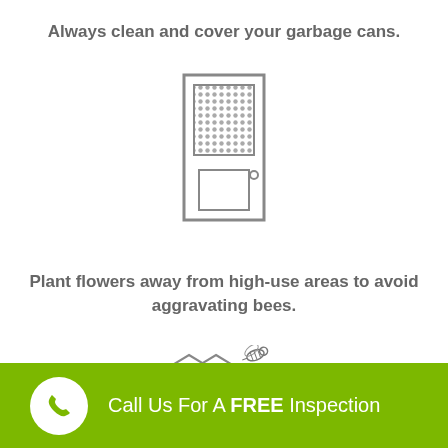Always clean and cover your garbage cans.
[Figure (illustration): Line drawing icon of a door with a screened upper panel and a square lower panel, with a door handle on the right side.]
Plant flowers away from high-use areas to avoid aggravating bees.
[Figure (illustration): Line drawing icons of a honeycomb pattern (hexagonal cells) with two bee illustrations flying near it.]
Call Us For A FREE Inspection